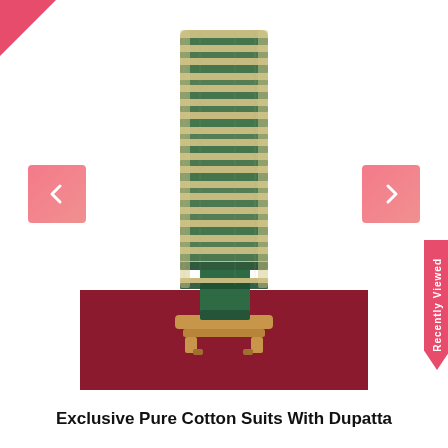[Figure (photo): Product photo of a green and beige striped cotton suit with dupatta draped on a mannequin, displayed against a white background with a red carpet base. Navigation arrows (left/right) are visible on either side. A red corner badge is at top-left and a 'Recently Viewed' badge is on the right edge.]
Exclusive Pure Cotton Suits With Dupatta